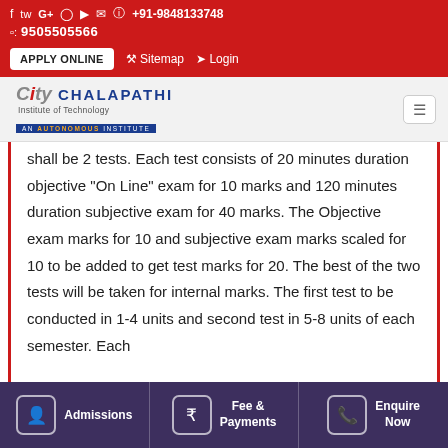f  y  G+  (instagram)  (youtube)  (email)  (whatsapp) +91-9848133748  (phone): 9505505566
APPLY ONLINE  Sitemap  Login
[Figure (logo): City Chalapathi Institute of Technology - AN AUTONOMOUS INSTITUTE logo]
shall be 2 tests. Each test consists of 20 minutes duration objective "On Line" exam for 10 marks and 120 minutes duration subjective exam for 40 marks. The Objective exam marks for 10 and subjective exam marks scaled for 10 to be added to get test marks for 20. The best of the two tests will be taken for internal marks. The first test to be conducted in 1-4 units and second test in 5-8 units of each semester. Each
Admissions  Fee & Payments  Enquire Now